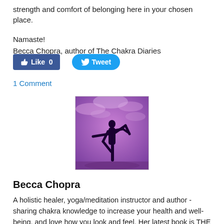strength and comfort of belonging here in your chosen place.
Namaste!
Becca Chopra, author of The Chakra Diaries
[Figure (screenshot): Facebook Like button showing count 0 and Twitter Tweet button]
1 Comment
[Figure (photo): Silhouette of a person in a yoga pose (dancer/lord of the dance) against a purple sky background]
Becca Chopra
A holistic healer, yoga/meditation instructor and author - sharing chakra knowledge to increase your health and well-being, and love how you look and feel. Her latest book is THE CHAKRA ENERGY DIET.